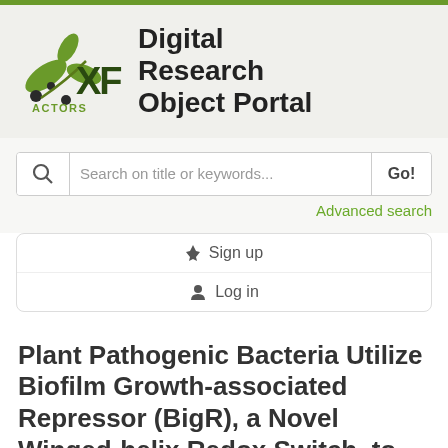[Figure (logo): XF ACTORS Digital Research Object Portal logo with olive branch icon and green text]
Search on title or keywords...
Advanced search
⚡ Sign up
👤 Log in
Plant Pathogenic Bacteria Utilize Biofilm Growth-associated Repressor (BigR), a Novel Winged-helix Redox Switch, to Control Hydrogen Sulfide Detoxification under Hypoxia